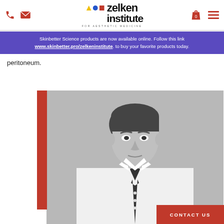Zelken Institute for Aesthetic Medicine
Skinbetter Science products are now available online. Follow this link www.skinbetter.pro/zelkeninstitute. to buy your favorite products today.
peritoneum.
[Figure (photo): Black and white photo of a well-dressed man in a white shirt and dark tie, with a red vertical bar accent on the left side of the image]
CONTACT US